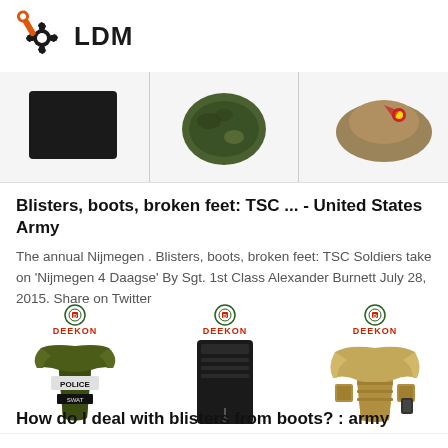LDM
[Figure (photo): Three product images in a row: a black fabric patch, a green camouflage item, and a tan military cap with a red star]
Blisters, boots, broken feet: TSC ... - United States Army
The annual Nijmegen . Blisters, boots, broken feet: TSC Soldiers take on 'Nijmegen 4 Daagse' By Sgt. 1st Class Alexander Burnett July 28, 2015. Share on Twitter
[Figure (photo): Three DEEKON branded tactical/military product images in a row: a police tactical vest, a black MOLLE pouch, and a tan tactical carrier vest]
How do I deal with blisters from boots? : army